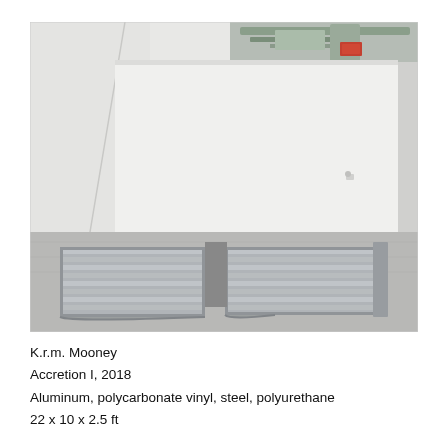[Figure (photo): Installation photograph of an art exhibition in a white gallery space. Two flat, ribbed aluminum/metal platform structures lie on a concrete floor in front of a large white wall. The platforms appear ramp-like with ridged surfaces. The gallery has white walls, high ceilings, and industrial features visible in the upper background.]
K.r.m. Mooney
Accretion I, 2018
Aluminum, polycarbonate vinyl, steel, polyurethane
22 x 10 x 2.5 ft